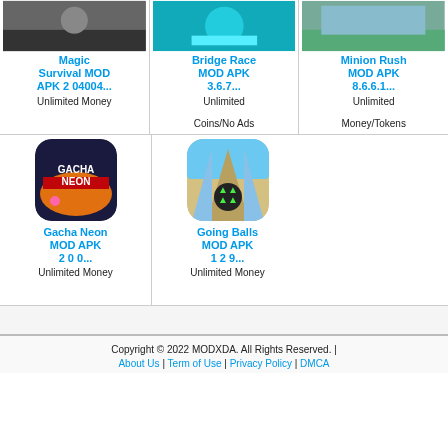[Figure (screenshot): Magic Survival MOD APK app icon (partially cropped at top)]
Magic Survival MOD APK
Unlimited Money
[Figure (screenshot): Bridge Race MOD APK app icon (partially cropped at top)]
Bridge Race MOD APK
Unlimited Coins/No Ads
[Figure (screenshot): Minion Rush MOD APK app icon (partially cropped at top)]
Minion Rush MOD APK
Unlimited Money/Tokens
[Figure (screenshot): Gacha Neon MOD APK app icon with orange and navy design]
Gacha Neon MOD APK
Unlimited Money
[Figure (screenshot): Going Balls MOD APK app icon with ball on track]
Going Balls MOD APK
Unlimited Money
Copyright © 2022 MODXDA. All Rights Reserved. | About Us | Term of Use | Privacy Policy | DMCA